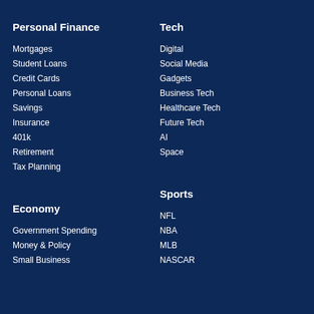Personal Finance
Mortgages
Student Loans
Credit Cards
Personal Loans
Savings
Insurance
401k
Retirement
Tax Planning
Economy
Government Spending
Money & Policy
Small Business
Tech
Digital
Social Media
Gadgets
Business Tech
Healthcare Tech
Future Tech
AI
Space
Sports
NFL
NBA
MLB
NASCAR